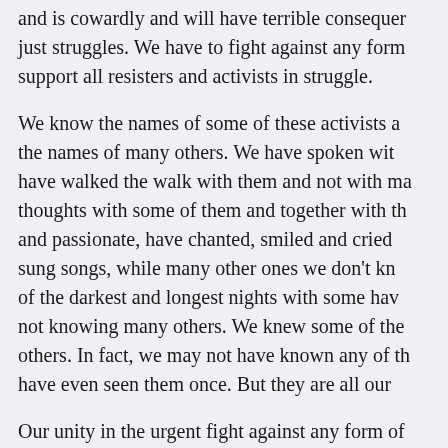and is cowardly and will have terrible consequences for just struggles. We have to fight against any form support all resisters and activists in struggle.
We know the names of some of these activists and the names of many others. We have spoken with have walked the walk with them and not with many thoughts with some of them and together with them and passionate, have chanted, smiled and cried, sung songs, while many other ones we don't know of the darkest and longest nights with some have not knowing many others. We knew some of them others. In fact, we may not have known any of them have even seen them once. But they are all our
Our unity in the urgent fight against any form of of activists and fighters in Iran is necessary and just struggles.
Burn the Cage Free the Birds! @burn_the_c...